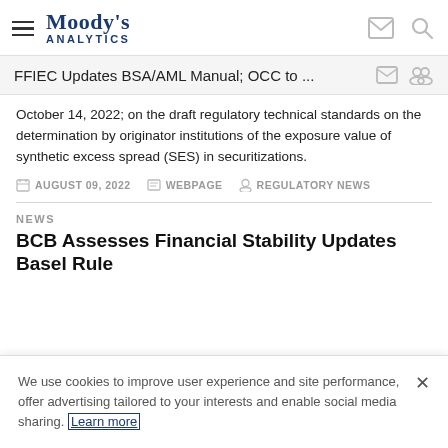Moody's Analytics
FFIEC Updates BSA/AML Manual; OCC to ...
October 14, 2022; on the draft regulatory technical standards on the determination by originator institutions of the exposure value of synthetic excess spread (SES) in securitizations.
AUGUST 09, 2022   WEBPAGE   REGULATORY NEWS
NEWS
BCB Assesses Financial Stability Updates Basel Rule
We use cookies to improve user experience and site performance, offer advertising tailored to your interests and enable social media sharing. Learn more